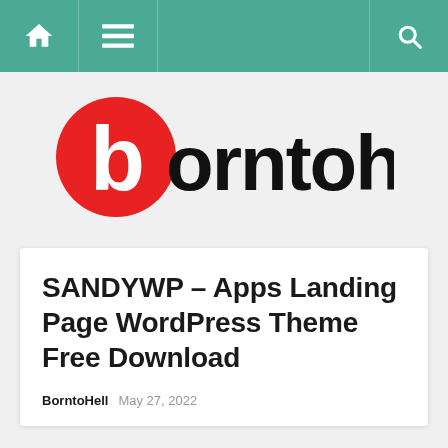Navigation bar with home, menu, and search icons
[Figure (logo): BorntoHell logo: red circle with white lowercase 'b' followed by 'orntohell' in black bold text]
SANDYWP – Apps Landing Page WordPress Theme Free Download
BorntoHell   May 27, 2022